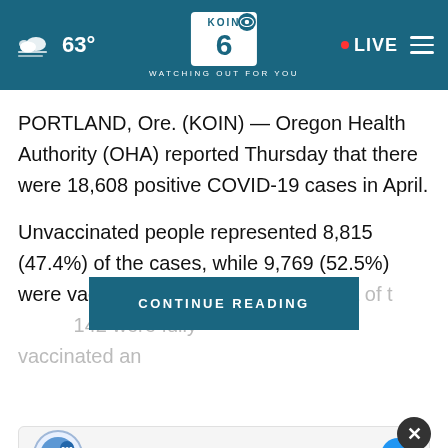63° KOIN 6 CBS WATCHING OUT FOR YOU LIVE
PORTLAND, Ore. (KOIN) — Oregon Health Authority (OHA) reported Thursday that there were 18,608 positive COVID-19 cases in April.
Unvaccinated people represented 8,815 (47.4%) of the cases, while 9,769 (52.5%) were vaccine breakthrough cases. Out of t[he…] 142 were fully vaccinated an[d…]
CONTINUE READING
[Figure (screenshot): Everyday Northwest advertisement panel with circular logo and close button]
Get Up To $110 Off a Set of 4 Select Firestone Tires